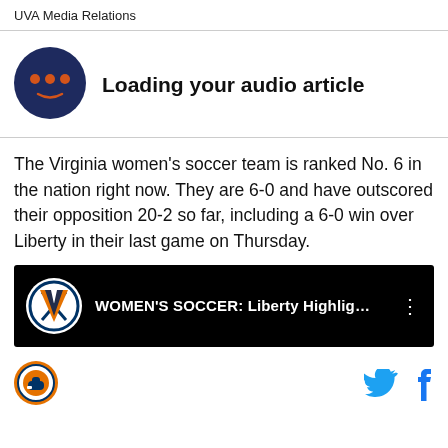UVA Media Relations
[Figure (illustration): Audio article player icon: dark navy circle with three orange dots and a mouth-like arc below, indicating a podcast/audio player widget]
Loading your audio article
The Virginia women’s soccer team is ranked No. 6 in the nation right now. They are 6-0 and have outscored their opposition 20-2 so far, including a 6-0 win over Liberty in their last game on Thursday.
[Figure (screenshot): Embedded YouTube-style video player with black background showing UVA Cavaliers logo and text: WOMEN'S SOCCER: Liberty Highlig...]
[Figure (logo): Orange and blue circular sports logo at bottom left]
[Figure (logo): Twitter bird icon in blue]
[Figure (logo): Facebook f icon in blue]